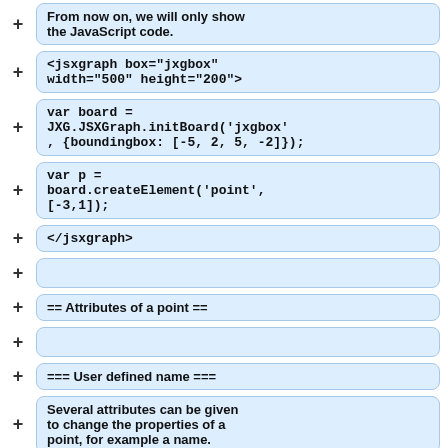From now on, we will only show the JavaScript code.
<jsxgraph box="jxgbox" width="500" height="200">
var board = JXG.JSXGraph.initBoard('jxgbox', {boundingbox: [-5, 2, 5, -2]});
var p = board.createElement('point', [-3,1]);
</jsxgraph>
== Attributes of a point ==
=== User defined name ===
Several attributes can be given to change the properties of a point, for example a name.